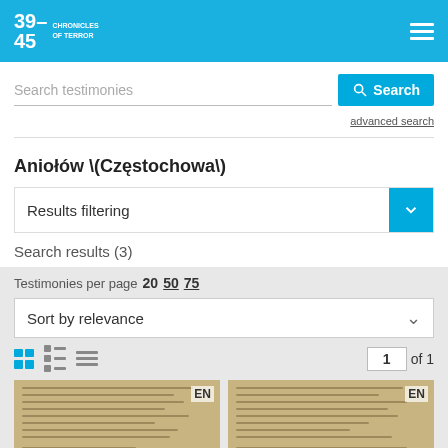39-45 CHRONICLES OF TERROR
Search testimonies
Search
advanced search
Aniołów \(Częstochowa\)
Results filtering
Search results (3)
Testimonies per page  20  50  75
Sort by relevance
1 of 1
[Figure (photo): Scanned handwritten document page with EN label]
[Figure (photo): Scanned handwritten document page with EN label]